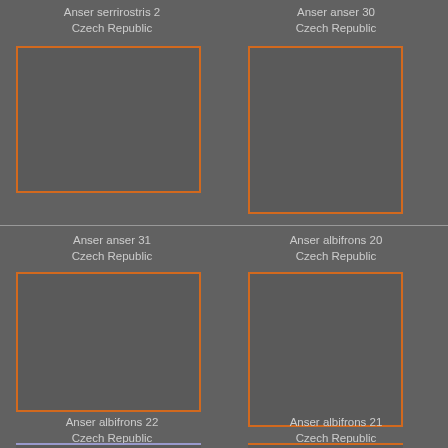[Figure (photo): Placeholder image box for Anser serrirostris 2, Czech Republic — orange-bordered gray rectangle]
Anser serrirostris 2
Czech Republic
[Figure (photo): Placeholder image box for Anser anser 30, Czech Republic — orange-bordered gray rectangle]
Anser anser 30
Czech Republic
[Figure (photo): Placeholder image box for Anser anser 31, Czech Republic — orange-bordered gray rectangle]
Anser anser 31
Czech Republic
[Figure (photo): Placeholder image box for Anser albifrons 20, Czech Republic — orange-bordered gray rectangle]
Anser albifrons 20
Czech Republic
Anser albifrons 22
Czech Republic
Anser albifrons 21
Czech Republic